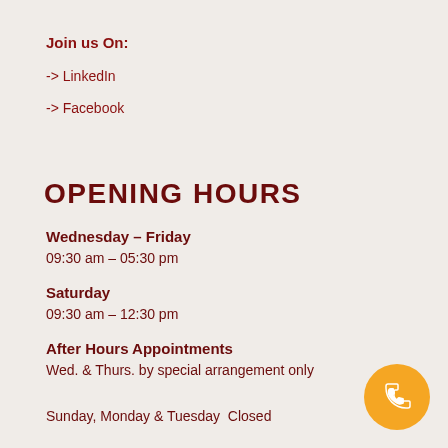Join us On:
-> LinkedIn
-> Facebook
OPENING HOURS
Wednesday – Friday
09:30 am – 05:30 pm
Saturday
09:30 am – 12:30 pm
After Hours Appointments
Wed. & Thurs. by special arrangement only
Sunday, Monday & Tuesday  Closed
[Figure (illustration): Orange circle with white phone handset icon]